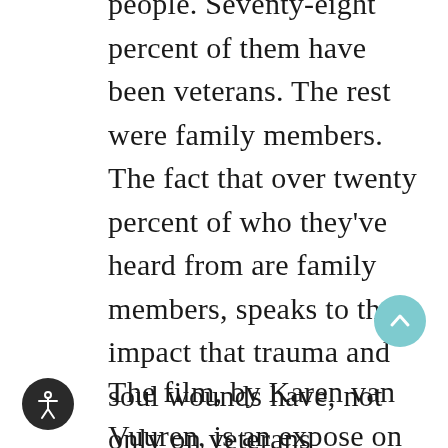people. Seventy-eight percent of them have been veterans. The rest were family members. The fact that over twenty percent of who they've heard from are family members, speaks to the impact that trauma and soul wounds have, not only on veterans themselves, but also on their families.
The film, by Karen van Vuuren, is an expose on how common it is for these suppressed traumas to surface